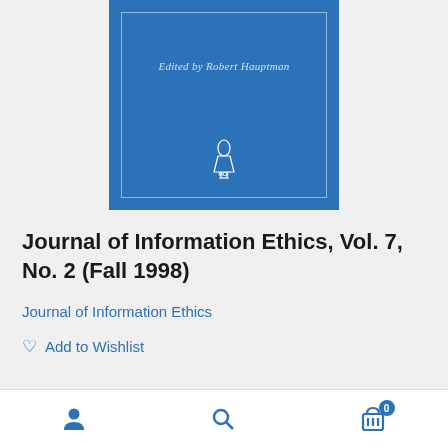[Figure (illustration): Blue book cover with border, text 'Edited by Robert Hauptman' in italic, and MCF publisher logo at bottom center]
Journal of Information Ethics, Vol. 7, No. 2 (Fall 1998)
Journal of Information Ethics
♡ Add to Wishlist
[Figure (infographic): Bottom navigation bar with user account icon, search icon, and shopping cart icon with badge showing 0]